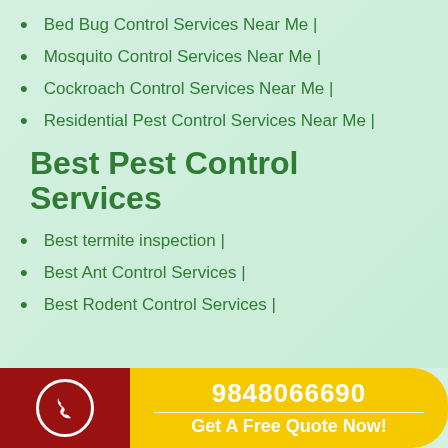Bed Bug Control Services Near Me |
Mosquito Control Services Near Me |
Cockroach Control Services Near Me |
Residential Pest Control Services Near Me |
Best Pest Control Services
Best termite inspection |
Best Ant Control Services |
Best Rodent Control Services |
9848066690 Get A Free Quote Now!